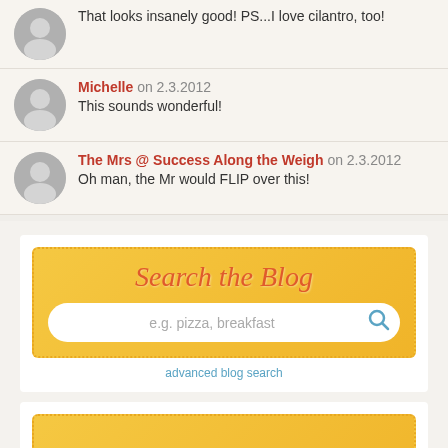That looks insanely good! PS...I love cilantro, too!
Michelle on 2.3.2012
This sounds wonderful!
The Mrs @ Success Along the Weigh on 2.3.2012
Oh man, the Mr would FLIP over this!
[Figure (illustration): Search the Blog banner with yellow/orange gradient background, dotted border, script text, and search input field with magnifier icon. Text: 'Search the Blog', placeholder 'e.g. pizza, breakfast', link 'advanced blog search']
[Figure (illustration): Submit your recipe banner with yellow/orange gradient background, stacked colorful bowls graphic. Text: 'SUBMIT your recipe!']